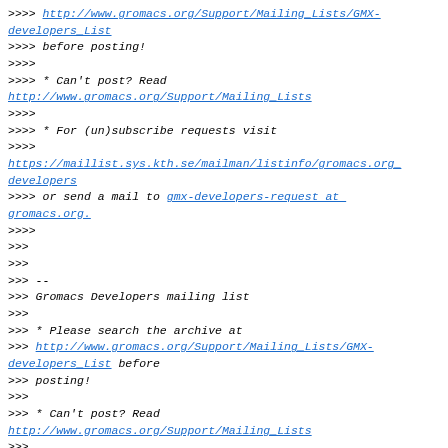>>>> http://www.gromacs.org/Support/Mailing_Lists/GMX-developers_List
>>>> before posting!
>>>>
>>>> * Can't post? Read
http://www.gromacs.org/Support/Mailing_Lists
>>>>
>>>> * For (un)subscribe requests visit
>>>>
https://maillist.sys.kth.se/mailman/listinfo/gromacs.org_developers
>>>> or send a mail to gmx-developers-request at gromacs.org.
>>>>
>>>
>>>
>>> --
>>> Gromacs Developers mailing list
>>>
>>> * Please search the archive at
>>> http://www.gromacs.org/Support/Mailing_Lists/GMX-developers_List before
>>> posting!
>>>
>>> * Can't post? Read
http://www.gromacs.org/Support/Mailing_Lists
>>>
>>> * For (un)subscribe requests visit
>>>
https://maillist.sys.kth.se/mailman/listinfo/gromacs.org